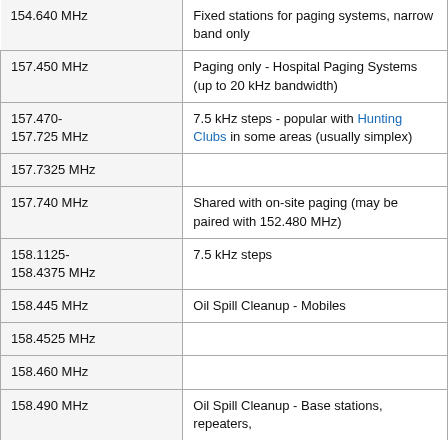| Frequency | Description |
| --- | --- |
| 154.640 MHz | Fixed stations for paging systems, narrow band only |
| 157.450 MHz | Paging only - Hospital Paging Systems (up to 20 kHz bandwidth) |
| 157.470-157.725 MHz | 7.5 kHz steps - popular with Hunting Clubs in some areas (usually simplex) |
| 157.7325 MHz |  |
| 157.740 MHz | Shared with on-site paging (may be paired with 152.480 MHz) |
| 158.1125-158.4375 MHz | 7.5 kHz steps |
| 158.445 MHz | Oil Spill Cleanup - Mobiles |
| 158.4525 MHz |  |
| 158.460 MHz |  |
| 158.490 MHz | Oil Spill Cleanup - Base stations, repeaters, |